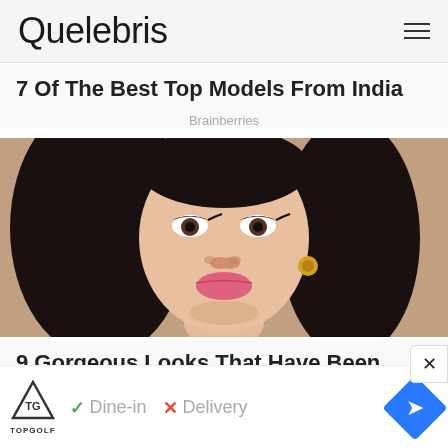Quelebris
7 Of The Best Top Models From India
Brainberries
[Figure (photo): Close-up portrait of a young woman with long dark hair, winged eyeliner, gold hoop earrings, and glossy pink lips]
9 Gorgeous Looks That Have Been Classic Go-tos For Decades
[Figure (screenshot): Advertisement banner for Topgolf showing logo, checkmark with Dine-in, X with Delivery, and a blue navigation diamond icon]